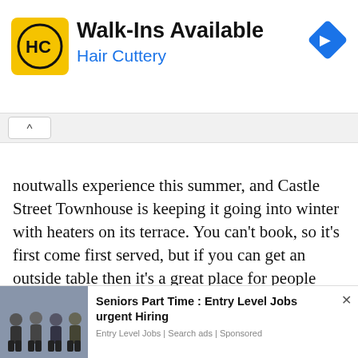[Figure (infographic): Hair Cuttery advertisement banner with yellow logo showing 'HC', text 'Walk-Ins Available' and 'Hair Cuttery' in blue, blue diamond navigation icon top right. Ad controls (play/close) on left side.]
noutwalls experience this summer, and Castle Street Townhouse is keeping it going into winter with heaters on its terrace. You can’t book, so it’s first come first served, but if you can get an outside table then it’s a great place for people watching and enjoying Townhouse’s all-day menu.
We use cookies on our website to give you the most relevant experience by remembering your preferences and repeat visits. By clicking “Accept All”, you consent to the use of ALL the cookies. However, you may visit "Cookie Settings" to provide a controlled consent.
[Figure (infographic): Bottom advertisement showing people sitting, with text 'Seniors Part Time : Entry Level Jobs urgent Hiring' and subtext 'Entry Level Jobs | Search ads | Sponsored', with X close button.]